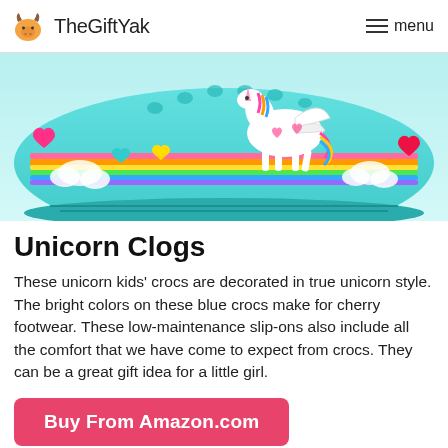TheGiftYak  menu
[Figure (photo): Close-up photo of a light blue/teal Crocs clog decorated with unicorn, rainbow, hearts, and colorful designs on the strap.]
Unicorn Clogs
These unicorn kids' crocs are decorated in true unicorn style. The bright colors on these blue crocs make for cherry footwear. These low-maintenance slip-ons also include all the comfort that we have come to expect from crocs. They can be a great gift idea for a little girl.
Buy From Amazon.com